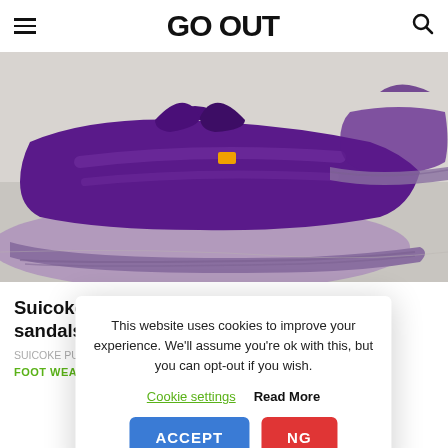GO OUT
[Figure (photo): Close-up photo of purple sandals (Suicoke split-toe style) with toe divider, purple fabric upper, and lavender rubber sole on a light gray surface]
Suicoke Purple Label's popular sandals will be on sale this s...
SUICOKE PURPLE L... shop NEPENTHES a...
FOOT WEAR
This website uses cookies to improve your experience. We'll assume you're ok with this, but you can opt-out if you wish.
Cookie settings  Read More  ACCEPT  NG